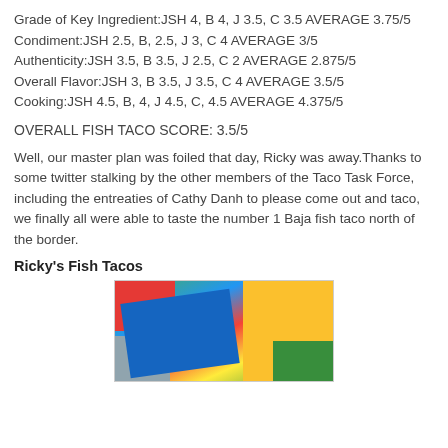Grade of Key Ingredient:JSH 4, B 4, J 3.5, C 3.5 AVERAGE 3.75/5
Condiment:JSH 2.5, B, 2.5, J 3, C 4 AVERAGE 3/5
Authenticity:JSH 3.5, B 3.5, J 2.5, C 2 AVERAGE 2.875/5
Overall Flavor:JSH 3, B 3.5, J 3.5, C 4 AVERAGE 3.5/5
Cooking:JSH 4.5, B, 4, J 4.5, C, 4.5 AVERAGE 4.375/5
OVERALL FISH TACO SCORE: 3.5/5
Well, our master plan was foiled that day, Ricky was away.Thanks to some twitter stalking by the other members of the Taco Task Force, including the entreaties of Cathy Danh to please come out and taco, we finally all were able to taste the number 1 Baja fish taco north of the border.
Ricky's Fish Tacos
[Figure (photo): Colorful outdoor market or food stand with blue, red, yellow, green, and gray fabric or awning panels visible.]